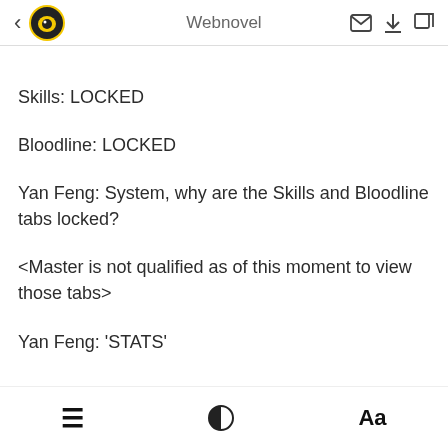Webnovel
Skills: LOCKED
Bloodline: LOCKED
Yan Feng: System, why are the Skills and Bloodline tabs locked?
<Master is not qualified as of this moment to view those tabs>
Yan Feng: 'STATS'
≡  ◑  Aa